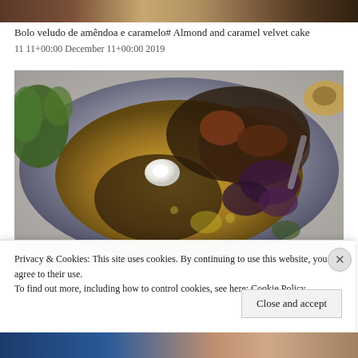[Figure (photo): Top partial strip of a food/dessert photo at the top of the page]
Bolo veludo de amêndoa e caramelo# Almond and caramel velvet cake
11 11+00:00 December 11+00:00 2019
[Figure (photo): Overhead food photography showing a rustic bowl filled with golden polenta or hummus topped with sautéed wild mushrooms, a dollop of white cream/yogurt, fresh thyme sprigs, with additional ingredients partially visible around the edges]
Privacy & Cookies: This site uses cookies. By continuing to use this website, you agree to their use.
To find out more, including how to control cookies, see here: Cookie Policy
Close and accept
[Figure (photo): Bottom partial strip showing partial food/portrait images]